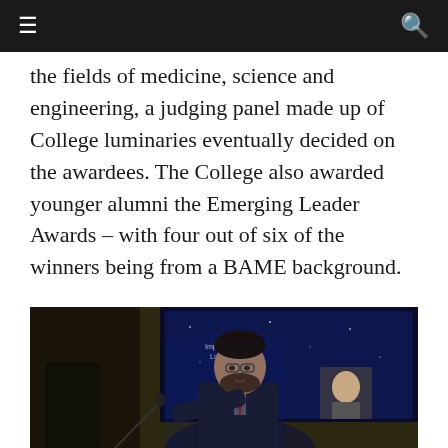navigation bar with menu and search icons
the fields of medicine, science and engineering, a judging panel made up of College luminaries eventually decided on the awardees. The College also awarded younger alumni the Emerging Leader Awards – with four out of six of the winners being from a BAME background.
[Figure (photo): A man in a dark suit with glasses speaking at a podium. Behind him is a large screen showing an Imperial College London logo and a photograph. The setting appears to be a formal awards ceremony.]